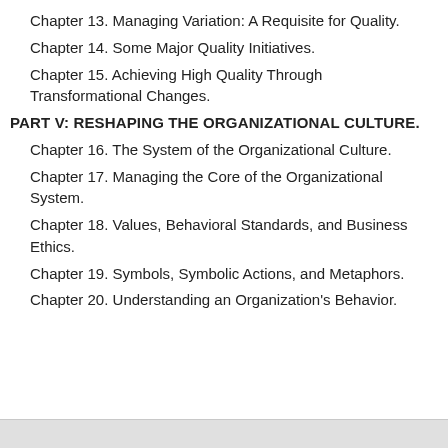Chapter 13. Managing Variation: A Requisite for Quality.
Chapter 14. Some Major Quality Initiatives.
Chapter 15. Achieving High Quality Through Transformational Changes.
PART V: RESHAPING THE ORGANIZATIONAL CULTURE.
Chapter 16. The System of the Organizational Culture.
Chapter 17. Managing the Core of the Organizational System.
Chapter 18. Values, Behavioral Standards, and Business Ethics.
Chapter 19. Symbols, Symbolic Actions, and Metaphors.
Chapter 20. Understanding an Organization's Behavior.